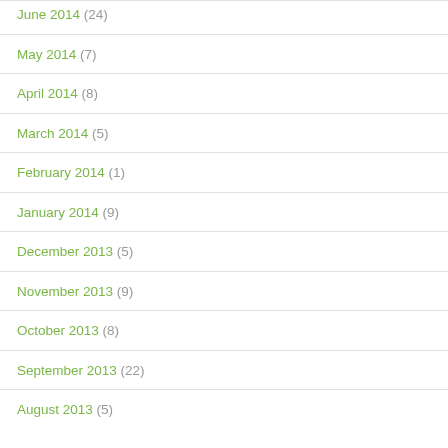June 2014 (24)
May 2014 (7)
April 2014 (8)
March 2014 (5)
February 2014 (1)
January 2014 (9)
December 2013 (5)
November 2013 (9)
October 2013 (8)
September 2013 (22)
August 2013 (5)